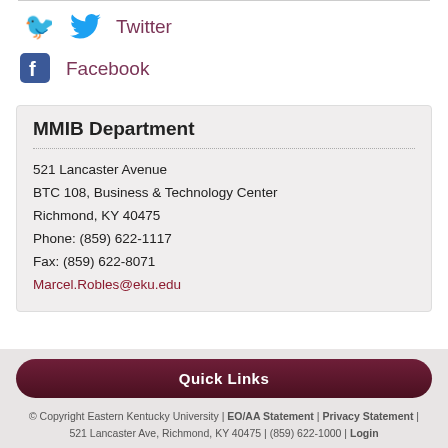Twitter
Facebook
MMIB Department
521 Lancaster Avenue
BTC 108, Business & Technology Center
Richmond, KY 40475
Phone: (859) 622-1117
Fax: (859) 622-8071
Marcel.Robles@eku.edu
Quick Links
© Copyright Eastern Kentucky University | EO/AA Statement | Privacy Statement | 521 Lancaster Ave, Richmond, KY 40475 | (859) 622-1000 | Login